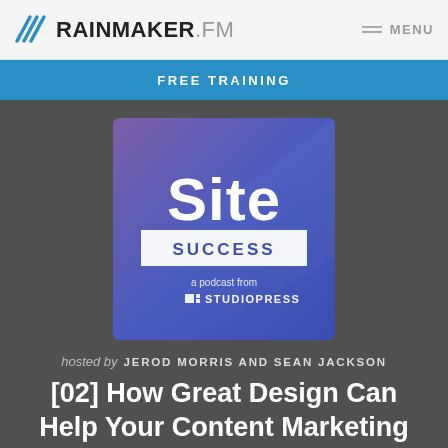RAINMAKER.FM  MENU
FREE TRAINING
[Figure (illustration): Site Success podcast cover art — blue/purple gradient square with large white text 'Site' and a white banner reading 'SUCCESS', subtext 'a podcast from STUDIOPRESS' with a StudioPress icon]
hosted by  JEROD MORRIS AND SEAN JACKSON
[02] How Great Design Can Help Your Content Marketing